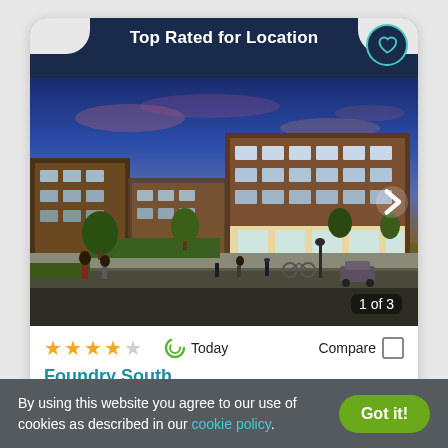Top Rated for Location
[Figure (photo): Architectural rendering of Foundry South apartment complex at dusk, showing a multi-story brick building with street-level retail, pedestrians, and landscaping. Image counter shows 1 of 3.]
★★★★☆  Today  Compare
Foundry South
1233 N EDDY STREET SUITE 106, South Bend, IN 4...
By using this website you agree to our use of cookies as described in our cookie policy.
Got it!